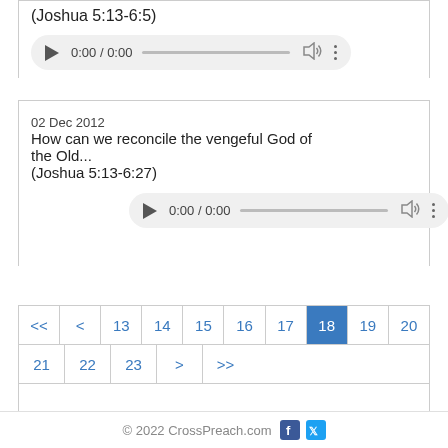(Joshua 5:13-6:5)
[Figure (screenshot): Audio player with play button, time 0:00 / 0:00, progress bar, volume icon, and more options icon]
02 Dec 2012  How can we reconcile the vengeful God of the Old Testament... (Joshua 5:13-6:27)
[Figure (screenshot): Audio player with play button, time 0:00 / 0:00, progress bar, volume icon, and more options icon]
| << | < | 13 | 14 | 15 | 16 | 17 | 18 | 19 | 20 |
| 21 | 22 | 23 | > | >> |
© 2022 CrossPreach.com